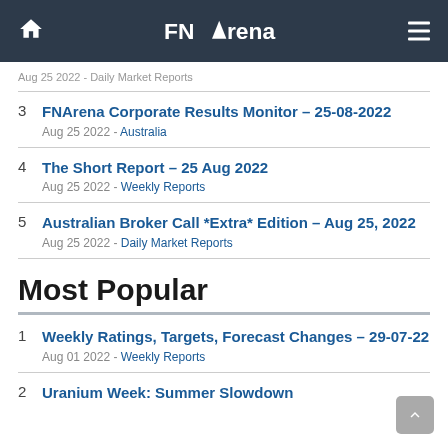FNArena
Aug 25 2022 - Daily Market Reports
3  FNArena Corporate Results Monitor – 25-08-2022
Aug 25 2022 - Australia
4  The Short Report – 25 Aug 2022
Aug 25 2022 - Weekly Reports
5  Australian Broker Call *Extra* Edition – Aug 25, 2022
Aug 25 2022 - Daily Market Reports
Most Popular
1  Weekly Ratings, Targets, Forecast Changes – 29-07-22
Aug 01 2022 - Weekly Reports
2  Uranium Week: Summer Slowdown